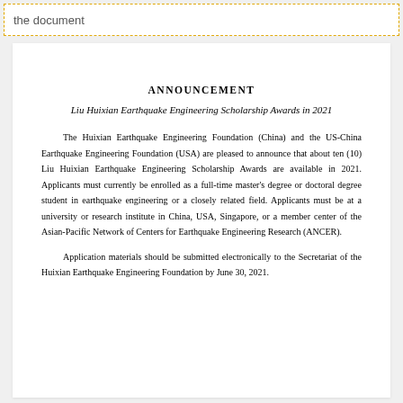the document
ANNOUNCEMENT
Liu Huixian Earthquake Engineering Scholarship Awards in 2021
The Huixian Earthquake Engineering Foundation (China) and the US-China Earthquake Engineering Foundation (USA) are pleased to announce that about ten (10) Liu Huixian Earthquake Engineering Scholarship Awards are available in 2021. Applicants must currently be enrolled as a full-time master's degree or doctoral degree student in earthquake engineering or a closely related field. Applicants must be at a university or research institute in China, USA, Singapore, or a member center of the Asian-Pacific Network of Centers for Earthquake Engineering Research (ANCER).
Application materials should be submitted electronically to the Secretariat of the Huixian Earthquake Engineering Foundation by June 30, 2021.